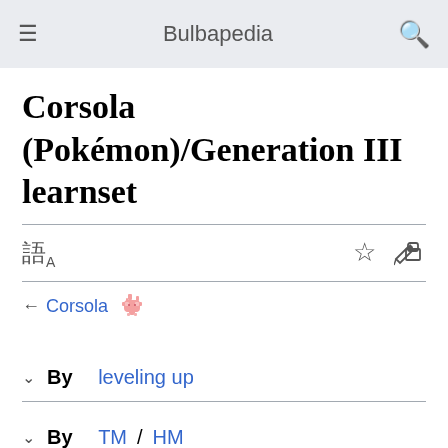Bulbapedia
Corsola (Pokémon)/Generation III learnset
← Corsola 🌸
By leveling up
By TM/HM
By breeding